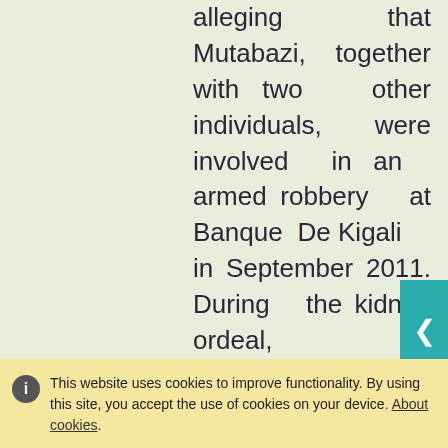alleging that Mutabazi, together with two other individuals, were involved in an armed robbery at Banque De Kigali in September 2011. During the kidnap ordeal, an unidentified
This website uses cookies to improve functionality. By using this site, you accept the use of cookies on your device. About cookies.